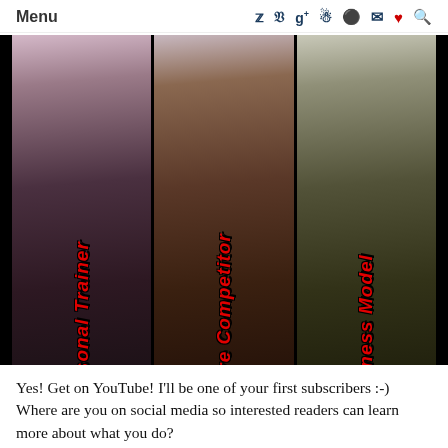Menu
[Figure (photo): Three-panel photo strip showing a fitness personality: left panel shows woman in black outfit labeled 'Personal Trainer', center panel shows woman in competition bikini labeled 'Figure Competitor', right panel shows woman in casual outfit labeled 'Fitness Model']
Yes! Get on YouTube! I'll be one of your first subscribers :-) Where are you on social media so interested readers can learn more about what you do?